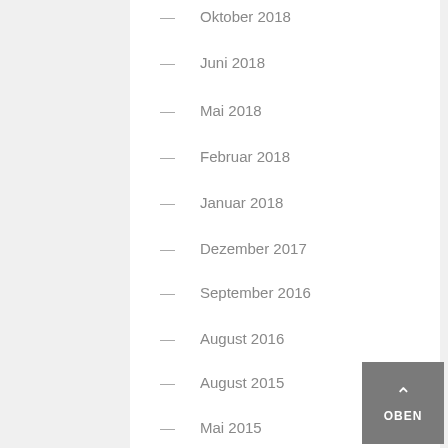Oktober 2018
Juni 2018
Mai 2018
Februar 2018
Januar 2018
Dezember 2017
September 2016
August 2016
August 2015
Mai 2015
Oktober 2014
September 2014
August 2014
Mai 2014